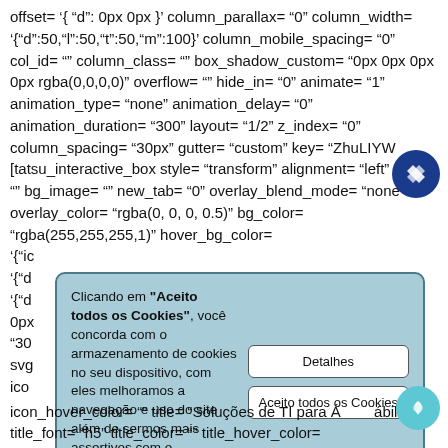offset= '{ "d": 0px 0px }' column_parallax= "0" column_width= '{"d":50,"l":50,"t":50,"m":100}' column_mobile_spacing= "0" col_id= "" column_class= "" box_shadow_custom= "0px 0px 0px 0px rgba(0,0,0,0)" overflow= "" hide_in= "0" animate= "1" animation_type= "none" animation_delay= "0" animation_duration= "300" layout= "1/2" z_index= "0" column_spacing= "30px" gutter= "custom" key= "ZhuLIYW [tatsu_interactive_box style= "transform" alignment= "left" url= "" bg_image= "" new_tab= "0" overlay_blend_mode= "none" overlay_color= "rgba(0, 0, 0, 0.5)" bg_color= "rgba(255,255,255,1)" hover_bg_color= '{"ic 'i{"d '{"d 0px "30 svg ico
[Figure (screenshot): Cookie consent overlay dialog in Portuguese with two buttons: Detalhes and Aceito todos os Cookies]
icon_hover_color= "" title= "Soluções de TI para Á... ábil" title_font= "h5" title_color= "" title_hover_color=